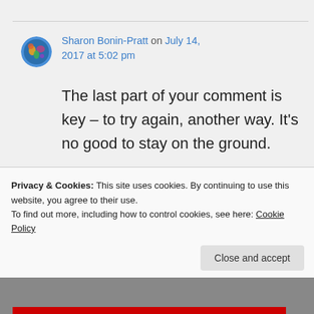Sharon Bonin-Pratt on July 14, 2017 at 5:02 pm
The last part of your comment is key – to try again, another way. It's no good to stay on the ground.
↳ Reply
Privacy & Cookies: This site uses cookies. By continuing to use this website, you agree to their use.
To find out more, including how to control cookies, see here: Cookie Policy
Close and accept